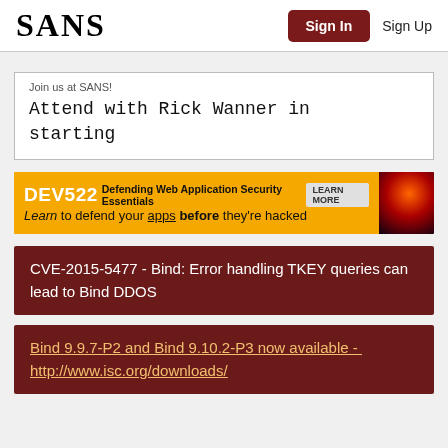SANS  Sign In  Sign Up
Join us at SANS!
Attend with Rick Wanner in starting
[Figure (infographic): DEV522 Defending Web Application Security Essentials - LEARN MORE banner ad. Text: Learn to defend your apps before they're hacked]
CVE-2015-5477 - Bind: Error handling TKEY queries can lead to Bind DDOS
Bind 9.9.7-P2 and Bind 9.10.2-P3 now available -  http://www.isc.org/downloads/